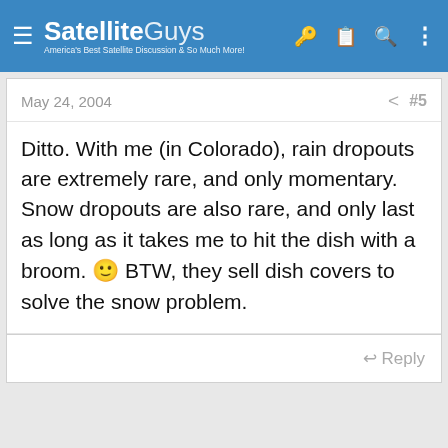SatelliteGuys — America's Best Satellite Discussion & So Much More!
May 24, 2004  < #5
Ditto. With me (in Colorado), rain dropouts are extremely rare, and only momentary. Snow dropouts are also rare, and only last as long as it takes me to hit the dish with a broom. 🙂 BTW, they sell dish covers to solve the snow problem.
Reply